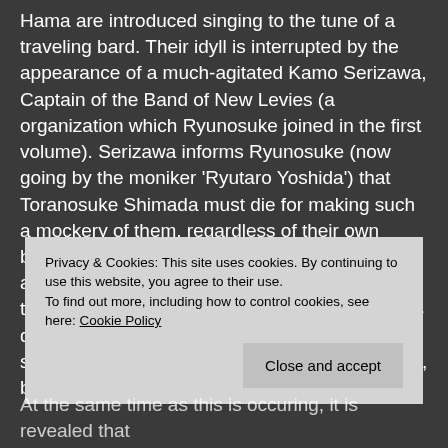Hama are introduced singing to the tune of a traveling bard. Their idyll is interrupted by the appearance of a much-agitated Kamo Serizawa, Captain of the Band of New Levies (a organization which Ryunosuke joined in the first volume). Serizawa informs Ryunosuke (now going by the moniker 'Ryutaro Yoshida') that Toranosuke Shimada must die for making such a mockery of them, regardless of their own blunder in mistakingly targeting him for assassination. Serizawa then tells Ryunosuke that Bunnojo's brother, Hyoma, has declared his desire for revenge. Ryunosuke is irked, if only slightly, not because someone wishes to kill him, but because
Privacy & Cookies: This site uses cookies. By continuing to use this website, you agree to their use.
To find out more, including how to control cookies, see here: Cookie Policy
Close and accept
At the same time as this is occuring, it is revealed that